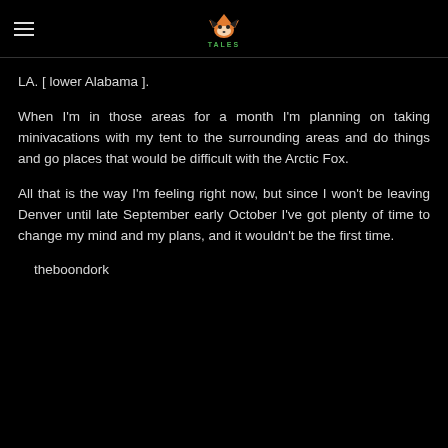FOX TALES
LA. [ lower Alabama ].
When I'm in those areas for a month I'm planning on taking minivacations with my tent to the surrounding areas and do things and go places that would be difficult with the Arctic Fox.
All that is the way I'm feeling right now, but since I won't be leaving Denver until late September early October I've got plenty of time to change my mind and my plans, and it wouldn't be the first time.
theboondork